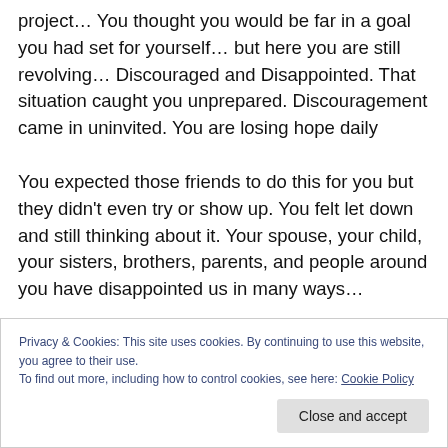project… You thought you would be far in a goal you had set for yourself… but here you are still revolving… Discouraged and Disappointed. That situation caught you unprepared. Discouragement came in uninvited. You are losing hope daily
You expected those friends to do this for you but they didn't even try or show up. You felt let down and still thinking about it. Your spouse, your child, your sisters, brothers, parents, and people around you have disappointed us in many ways…
Sometimes you feel helpless, and despair, like quitting …
Privacy & Cookies: This site uses cookies. By continuing to use this website, you agree to their use.
To find out more, including how to control cookies, see here: Cookie Policy
Close and accept